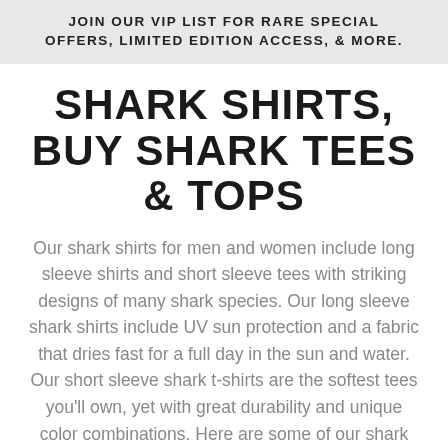JOIN OUR VIP LIST FOR RARE SPECIAL OFFERS, LIMITED EDITION ACCESS, & MORE.
SHARK SHIRTS, BUY SHARK TEES & TOPS
Our shark shirts for men and women include long sleeve shirts and short sleeve tees with striking designs of many shark species. Our long sleeve shark shirts include UV sun protection and a fabric that dries fast for a full day in the sun and water. Our short sleeve shark t-shirts are the softest tees you'll own, yet with great durability and unique color combinations. Here are some of our shark shirts.
[Figure (illustration): Partial view of a shark shirt/t-shirt graphic at the bottom of the page, with a circular black badge with a crown icon in the lower right corner]